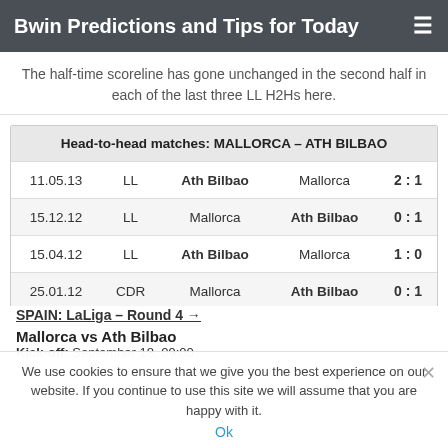Bwin Predictions and Tips for Today
The half-time scoreline has gone unchanged in the second half in each of the last three LL H2Hs here.
| Head-to-head matches: MALLORCA – ATH BILBAO |
| --- |
| 11.05.13 | LL | Ath Bilbao | Mallorca | 2 : 1 |
| 15.12.12 | LL | Mallorca | Ath Bilbao | 0 : 1 |
| 15.04.12 | LL | Ath Bilbao | Mallorca | 1 : 0 |
| 25.01.12 | CDR | Mallorca | Ath Bilbao | 0 : 1 |
| 18.01.12 | CDR | Ath Bilbao | Mallorca | 2 : 0 |
SPAIN: LaLiga – Round 4
Mallorca vs Ath Bilbao
Kick-off: September 18, 09:00
We use cookies to ensure that we give you the best experience on our website. If you continue to use this site we will assume that you are happy with it.